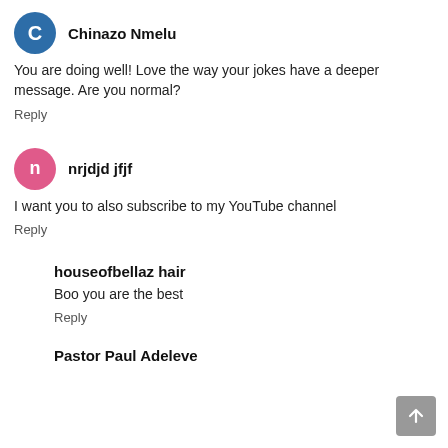Chinazo Nmelu
You are doing well! Love the way your jokes have a deeper message. Are you normal?
Reply
nrjdjd jfjf
I want you to also subscribe to my YouTube channel
Reply
houseofbellaz hair
Boo you are the best
Reply
Pastor Paul Adeleve